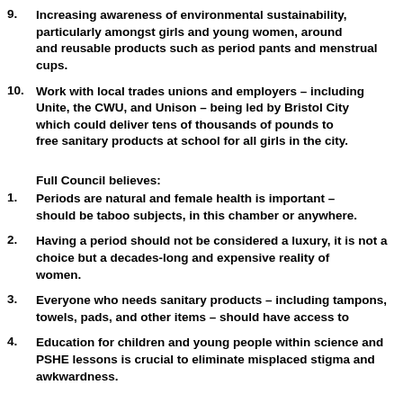9. Increasing awareness of environmental sustainability, particularly amongst girls and young women, around eco and reusable products such as period pants and menstrual cups.
10. Work with local trades unions and employers – including Unite, the CWU, and Unison – being led by Bristol City Council, which could deliver tens of thousands of pounds to provide free sanitary products at school for all girls in the city.
Full Council believes:
1. Periods are natural and female health is important – neither should be taboo subjects, in this chamber or anywhere else.
2. Having a period should not be considered a luxury, it is not a choice but a decades-long and expensive reality of life for women.
3. Everyone who needs sanitary products – including tampons, towels, pads, and other items – should have access to them.
4. Education for children and young people within science and PSHE lessons is crucial to eliminate misplaced stigma and awkwardness.